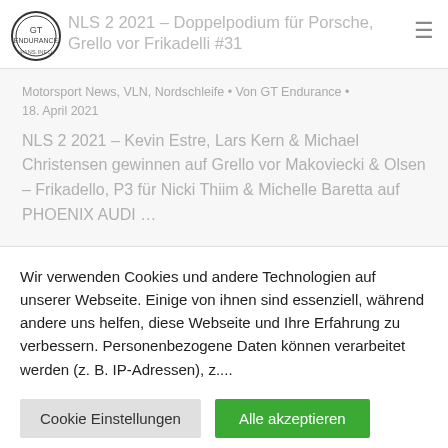NLS 2 2021 – Doppelpodium für Porsche, Grello vor Frikadelli #31
Motorsport News, VLN, Nordschleife • Von GT Endurance • 18. April 2021
NLS 2 2021 – Kevin Estre, Lars Kern & Michael Christensen gewinnen auf Grello vor Makoviecki & Olsen – Frikadello, P3 für Nicki Thiim & Michelle Baretta auf PHOENIX AUDI …
Wir verwenden Cookies und andere Technologien auf unserer Webseite. Einige von ihnen sind essenziell, während andere uns helfen, diese Webseite und Ihre Erfahrung zu verbessern. Personenbezogene Daten können verarbeitet werden (z. B. IP-Adressen), z....
Cookie Einstellungen
Alle akzeptieren